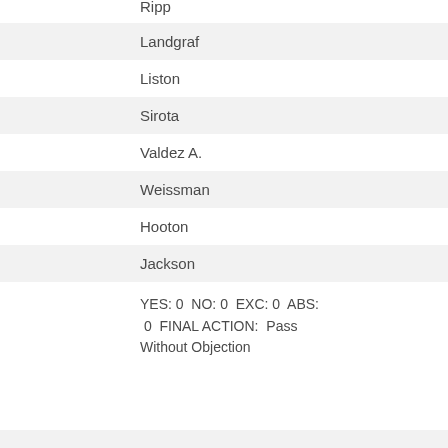Ripp
Landgraf
Liston
Sirota
Valdez A.
Weissman
Hooton
Jackson
YES: 0  NO: 0  EXC: 0  ABS: 0  FINAL ACTION: Pass Without Objection